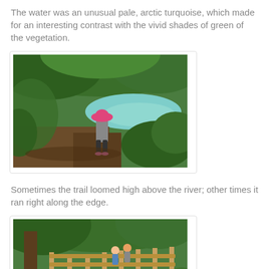The water was an unusual pale, arctic turquoise, which made for an interesting contrast with the vivid shades of green of the vegetation.
[Figure (photo): A child wearing a pink hat stands on a dirt trail overlooking a pale turquoise river surrounded by lush green vegetation and trees.]
Sometimes the trail loomed high above the river; other times it ran right along the edge.
[Figure (photo): People walking on a wooden bridge or elevated walkway through a dense green forest with tall trees.]